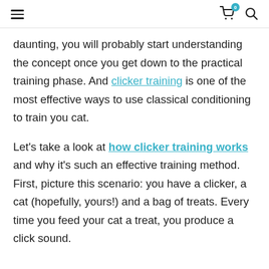≡  🛒 0  🔍
daunting, you will probably start understanding the concept once you get down to the practical training phase. And clicker training is one of the most effective ways to use classical conditioning to train you cat.
Let's take a look at how clicker training works and why it's such an effective training method. First, picture this scenario: you have a clicker, a cat (hopefully, yours!) and a bag of treats. Every time you feed your cat a treat, you produce a click sound.